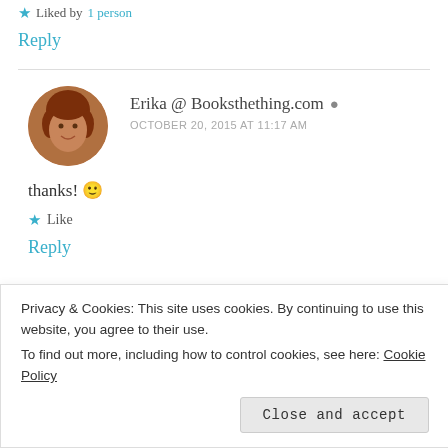★ Liked by 1 person
Reply
Erika @ Booksthething.com
OCTOBER 20, 2015 AT 11:17 AM
thanks! 🙂
★ Like
Reply
Privacy & Cookies: This site uses cookies. By continuing to use this website, you agree to their use.
To find out more, including how to control cookies, see here: Cookie Policy
Close and accept